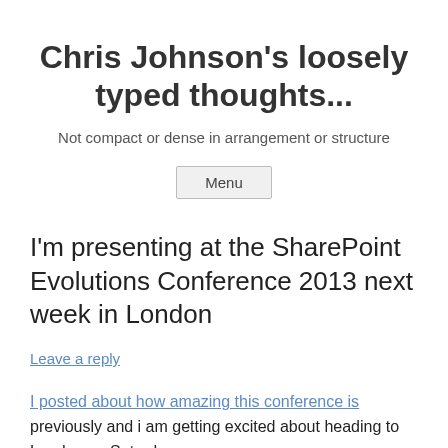Chris Johnson's loosely typed thoughts...
Not compact or dense in arrangement or structure
Menu
I'm presenting at the SharePoint Evolutions Conference 2013 next week in London
Leave a reply
I posted about how amazing this conference is previously and i am getting excited about heading to London on Saturday.